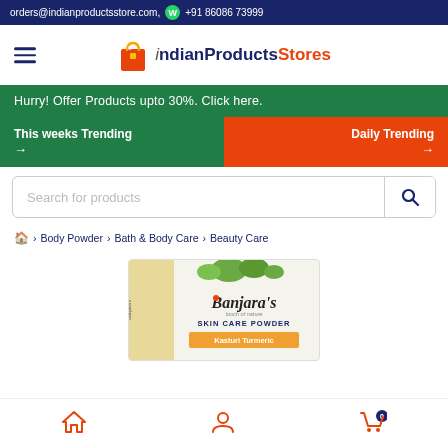orders@indianproductsstore.com,  +91 86086 73999
[Figure (logo): IndianProductsStores logo with shopping bag icon]
Hurry! Offer Products upto 30%. Click here.
This weeks Trending →
Daily Trending →
Search for products
🏠 › Body Powder › Bath & Body Care › Beauty Care
[Figure (photo): Banjara's Skin Care Powder Kasturi Turmeric product box with green leaves]
Home | Account | Cart (0)